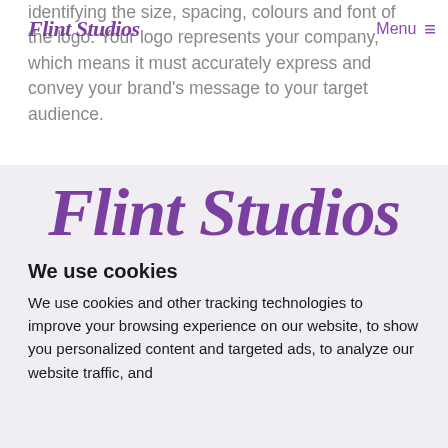identifying the size, spacing, colours and font of the logo. Your logo represents your company, which means it must accurately express and convey your brand's message to your target audience.
Flint Studios  Menu ≡
[Figure (logo): Flint Studios logo in large purple cursive/italic script font on light grey background]
We use cookies
We use cookies and other tracking technologies to improve your browsing experience on our website, to show you personalized content and targeted ads, to analyze our website traffic, and